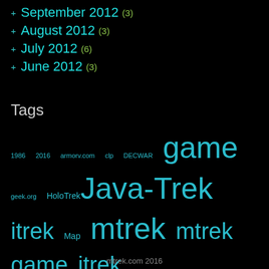September 2012 (3)
August 2012 (3)
July 2012 (6)
June 2012 (3)
Tags
1986 2016 armorv.com clp DECWAR game geek.org HoloTrek Java-Trek itrek Map mtrek mtrek game jtrek multi trek java telnet multiplayer space combat simulator Multi-Trek multiplayer Netrek online Quadrant Retro Gaming S&MTrek Santa Cruz Star Trek TradeWars Trade Wars UCSC
mtrek.com 2016